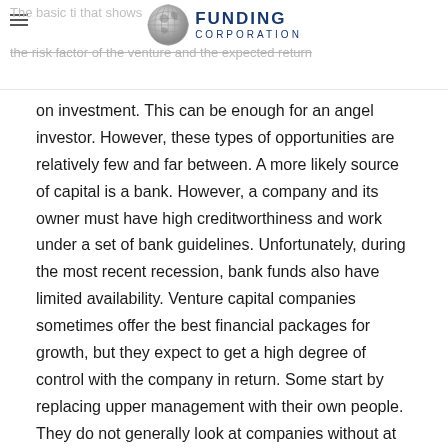FUNDING CORPORATION
on investment. This can be enough for an angel investor. However, these types of opportunities are relatively few and far between. A more likely source of capital is a bank. However, a company and its owner must have high creditworthiness and work under a set of bank guidelines. Unfortunately, during the most recent recession, bank funds also have limited availability. Venture capital companies sometimes offer the best financial packages for growth, but they expect to get a high degree of control with the company in return. Some start by replacing upper management with their own people. They do not generally look at companies without at least a five-year proven track record.
Get Financing and Keep Control